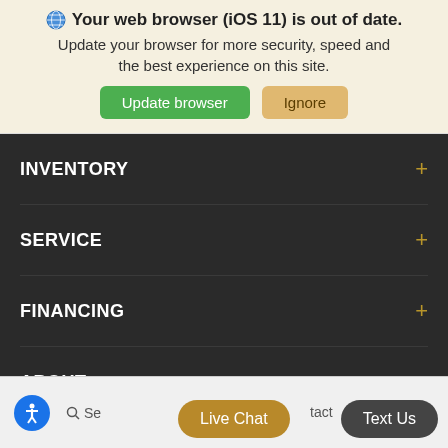🌐 Your web browser (iOS 11) is out of date. Update your browser for more security, speed and the best experience on this site.
Update browser
Ignore
INVENTORY
SERVICE
FINANCING
ABOUT
Live Chat
Text Us
Search
Contact